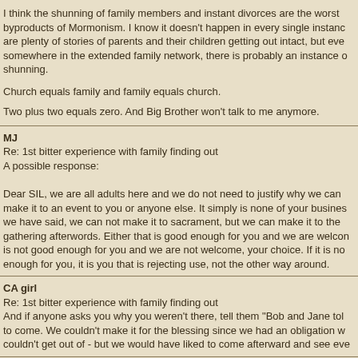I think the shunning of family members and instant divorces are the worst byproducts of Mormonism. I know it doesn't happen in every single instance, are plenty of stories of parents and their children getting out intact, but ever somewhere in the extended family network, there is probably an instance of shunning.
Church equals family and family equals church.
Two plus two equals zero. And Big Brother won't talk to me anymore.
MJ
Re: 1st bitter experience with family finding out
A possible response:

Dear SIL, we are all adults here and we do not need to justify why we can make it to an event to you or anyone else. It simply is none of your business. we have said, we can not make it to sacrament, but we can make it to the gathering afterwords. Either that is good enough for you and we are welcome, is not good enough for you and we are not welcome, your choice. If it is not enough for you, it is you that is rejecting use, not the other way around.
CA girl
Re: 1st bitter experience with family finding out
And if anyone asks you why you weren't there, tell them "Bob and Jane told to come. We couldn't make it for the blessing since we had an obligation we couldn't get out of - but we would have liked to come afterward and see eve
ishmael